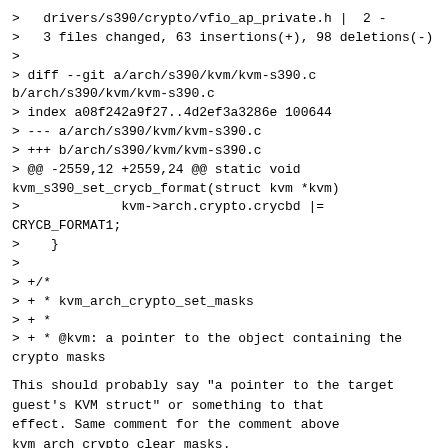>   drivers/s390/crypto/vfio_ap_private.h |  2 -
>   3 files changed, 63 insertions(+), 98 deletions(-)
>
> diff --git a/arch/s390/kvm/kvm-s390.c b/arch/s390/kvm/kvm-s390.c
> index a08f242a9f27..4d2ef3a3286e 100644
> --- a/arch/s390/kvm/kvm-s390.c
> +++ b/arch/s390/kvm/kvm-s390.c
> @@ -2559,12 +2559,24 @@ static void kvm_s390_set_crycb_format(struct kvm *kvm)
>             kvm->arch.crypto.crycbd |= CRYCB_FORMAT1;
>    }
>
> +/*
> + * kvm_arch_crypto_set_masks
> + *
> + * @kvm: a pointer to the object containing the crypto masks
This should probably say "a pointer to the target guest's KVM struct" or something to that effect. Same comment for the comment above kvm_arch_crypto_clear_masks.
> + * @apm: the mask identifying the accessible AP adapters
> + * @aqm: the mask identifying the accessible AP domains
> + * @adm: the mask identifying the accessible AP